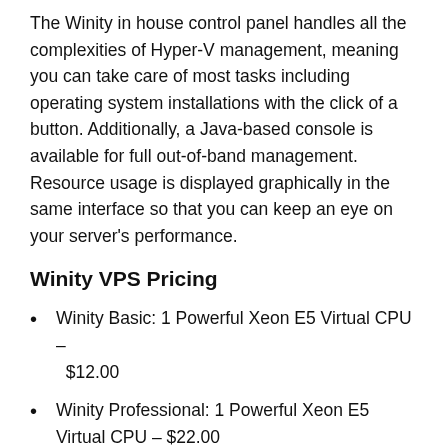The Winity in house control panel handles all the complexities of Hyper-V management, meaning you can take care of most tasks including operating system installations with the click of a button. Additionally, a Java-based console is available for full out-of-band management. Resource usage is displayed graphically in the same interface so that you can keep an eye on your server's performance.
Winity VPS Pricing
Winity Basic: 1 Powerful Xeon E5 Virtual CPU – $12.00
Winity Professional: 1 Powerful Xeon E5 Virtual CPU – $22.00